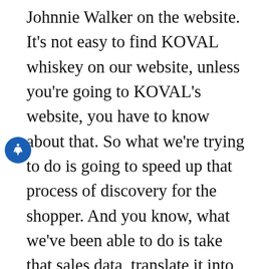Johnnie Walker on the website. It's not easy to find KOVAL whiskey on our website, unless you're going to KOVAL's website, you have to know about that. So what we're trying to do is going to speed up that process of discovery for the shopper. And you know, what we've been able to do is take that sales data, translate it into how people like products. So to give you an example, from my own preferences, I drink a lot of Breckenridge bourbon. And so I tested our system, I wanted to see what it recommended and kick back, and Irish Whiskey from a Chicago bar kickback, a $5,000 bottle of a special rare Jim Beam edition that